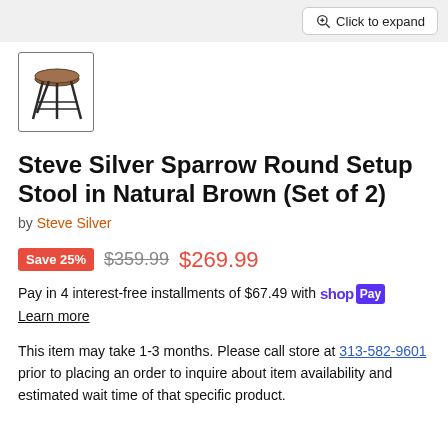[Figure (screenshot): Click to expand button in top-right corner of product image area]
[Figure (photo): Thumbnail image of Steve Silver Sparrow Round Stool in Natural Brown, showing a round wooden stool with dark metal legs]
Steve Silver Sparrow Round Setup Stool in Natural Brown (Set of 2)
by Steve Silver
Save 25% $359.99 $269.99
Pay in 4 interest-free installments of $67.49 with Shop Pay
Learn more
This item may take 1-3 months. Please call store at 313-582-9601 prior to placing an order to inquire about item availability and estimated wait time of that specific product.